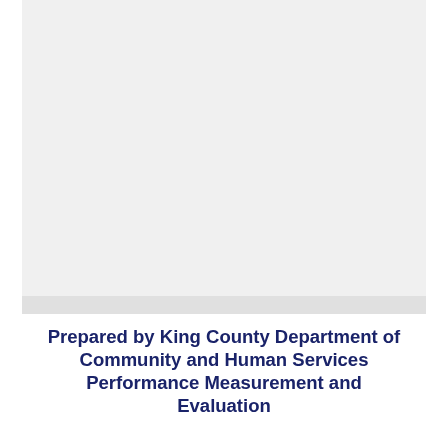[Figure (other): Large light gray rectangular image area occupying the upper portion of the page]
Prepared by King County Department of Community and Human Services Performance Measurement and Evaluation